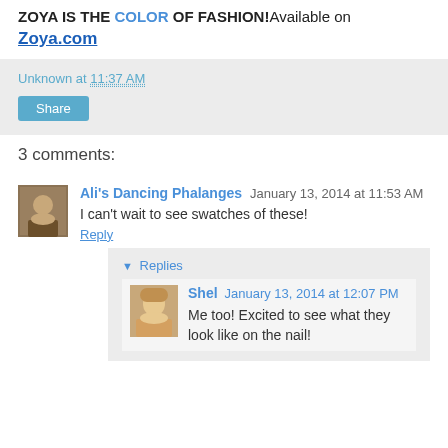ZOYA IS THE COLOR OF FASHION! Available on Zoya.com
Unknown at 11:37 AM
Share
3 comments:
Ali's Dancing Phalanges  January 13, 2014 at 11:53 AM
I can't wait to see swatches of these!
Reply
Replies
Shel  January 13, 2014 at 12:07 PM
Me too! Excited to see what they look like on the nail!